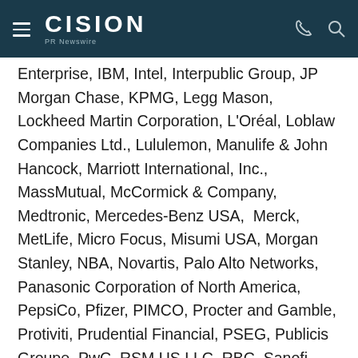CISION PR Newswire
Enterprise, IBM, Intel, Interpublic Group, JP Morgan Chase, KPMG, Legg Mason, Lockheed Martin Corporation, L'Oréal, Loblaw Companies Ltd., Lululemon, Manulife & John Hancock, Marriott International, Inc., MassMutual, McCormick & Company, Medtronic, Mercedes-Benz USA, Merck, MetLife, Micro Focus, Misumi USA, Morgan Stanley, NBA, Novartis, Palo Alto Networks, Panasonic Corporation of North America, PepsiCo, Pfizer, PIMCO, Procter and Gamble, Protiviti, Prudential Financial, PSEG, Publicis Groupe, PwC, RSM US LLC, RBC, Sanofi, Scotiabank, Sodexo, Sun Life, Synchrony, TPG, Uber, UBS, Under Armour, United Airlines, US Bank, U. S. Steel, Walmart, Wells Fargo and WNBA.